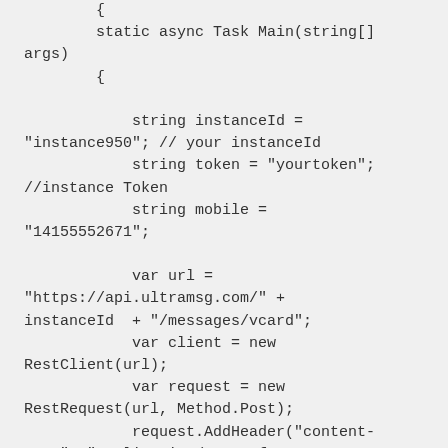{ static async Task Main(string[] args) { string instanceId = "instance950"; // your instanceId string token = "yourtoken"; //instance Token string mobile = "14155552671"; var url = "https://api.ultramsg.com/" + instanceId + "/messages/vcard"; var client = new RestClient(url); var request = new RestRequest(url, Method.Post); request.AddHeader("content-type", "application/x-www-form-urlencoded"); request.AddParameter("token", token); request.AddParameter("to",